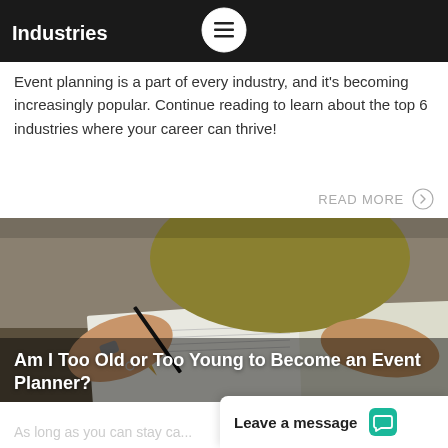Industries
Event planning is a part of every industry, and it's becoming increasingly popular. Continue reading to learn about the top 6 industries where your career can thrive!
READ MORE →
[Figure (photo): Person in olive/mustard top writing in a notebook with a pen, viewed from above, hands on an open notebook on a table]
Am I Too Old or Too Young to Become an Event Planner?
As long as you can stay ca...
Leave a message